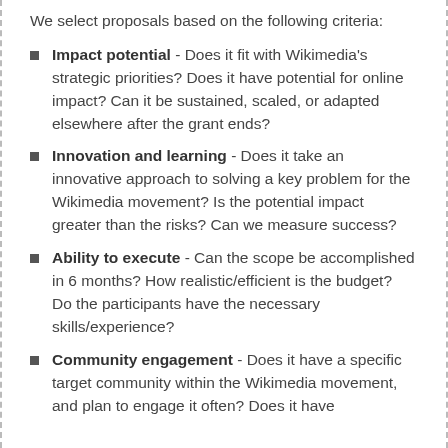We select proposals based on the following criteria:
Impact potential - Does it fit with Wikimedia's strategic priorities? Does it have potential for online impact? Can it be sustained, scaled, or adapted elsewhere after the grant ends?
Innovation and learning - Does it take an innovative approach to solving a key problem for the Wikimedia movement? Is the potential impact greater than the risks? Can we measure success?
Ability to execute - Can the scope be accomplished in 6 months? How realistic/efficient is the budget? Do the participants have the necessary skills/experience?
Community engagement - Does it have a specific target community within the Wikimedia movement, and plan to engage it often? Does it have